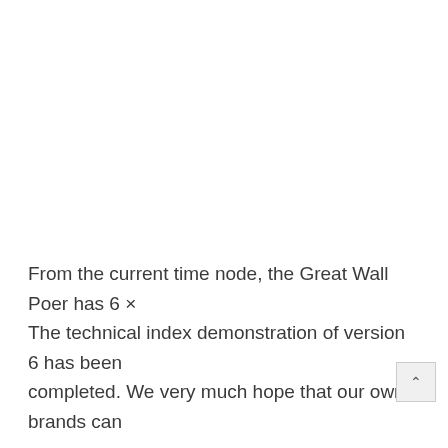From the current time node, the Great Wall Poer has 6 × The technical index demonstration of version 6 has been completed. We very much hope that our own brands can